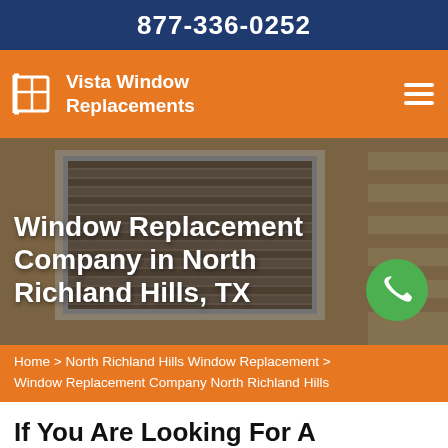877-336-0252
Vista Window Replacements
[Figure (screenshot): Hero image showing a building exterior with windows and horizontal blinds, with the text 'Window Replacement Company in North Richland Hills, TX' overlaid in white, and a green phone call button on the right.]
Home > North Richland Hills Window Replacement > Window Replacement Company North Richland Hills
If You Are Looking For A Window Replacement Company in Nor...